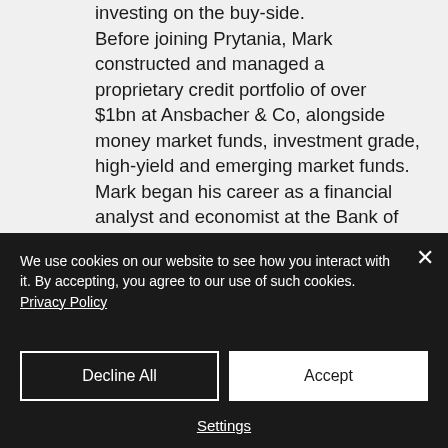investing on the buy-side. Before joining Prytania, Mark constructed and managed a proprietary credit portfolio of over $1bn at Ansbacher & Co, alongside money market funds, investment grade, high-yield and emerging market funds. Mark began his career as a financial analyst and economist at the Bank of England and was later responsible for economic and investment strategy at a number of securities houses covering cash and derivative products in debt, equity, foreign exchange and...
We use cookies on our website to see how you interact with it. By accepting, you agree to our use of such cookies. Privacy Policy
Decline All
Accept
Settings